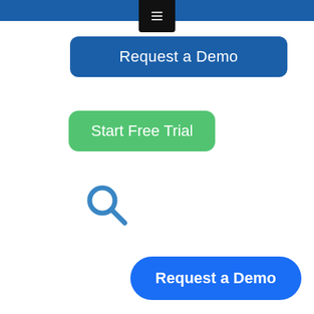[Figure (screenshot): Navigation bar with dark hamburger menu icon centered at top, blue background]
Request a Demo
Start Free Trial
[Figure (other): Blue search/magnifying glass icon]
Request a Demo